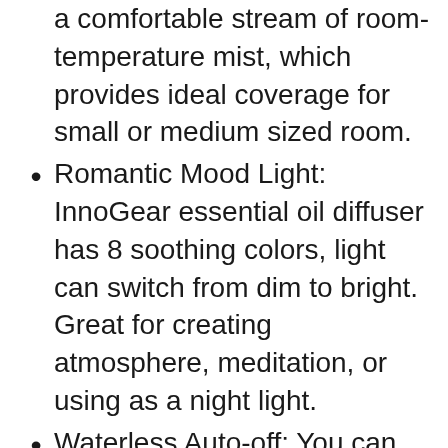a comfortable stream of room-temperature mist, which provides ideal coverage for small or medium sized room.
Romantic Mood Light: InnoGear essential oil diffuser has 8 soothing colors, light can switch from dim to bright. Great for creating atmosphere, meditation, or using as a night light.
Waterless Auto-off: You can enjoy a restful sleep and keep this diffuser on at night without worries. The diffuser will automatically shut off